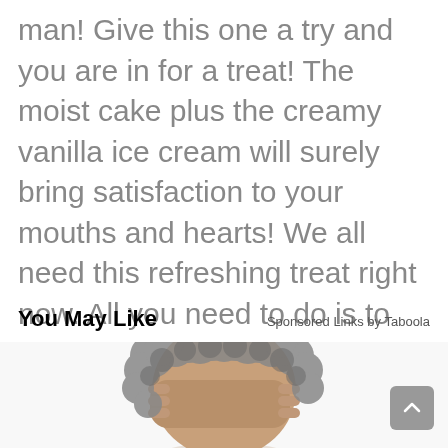man! Give this one a try and you are in for a treat! The moist cake plus the creamy vanilla ice cream will surely bring satisfaction to your mouths and hearts! We all need this refreshing treat right now. All you need to do is to follow these steps and you are good to go. Enjoy!
You May Like    Sponsored Links by Taboola
[Figure (photo): A person with curly gray hair covering their face with their hands, visible from roughly the shoulders up, against a white background.]